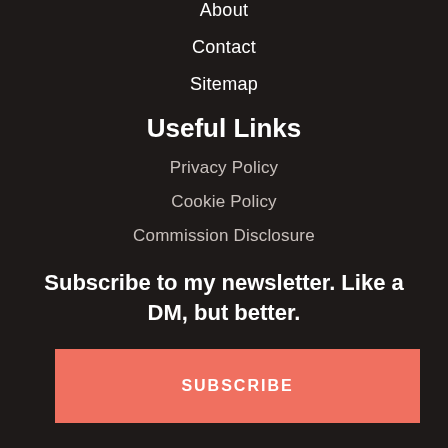About
Contact
Sitemap
Useful Links
Privacy Policy
Cookie Policy
Commission Disclosure
Subscribe to my newsletter. Like a DM, but better.
SUBSCRIBE